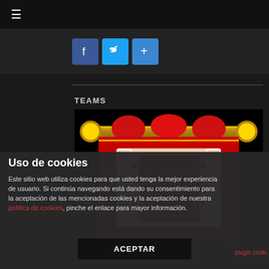[Figure (screenshot): Navigation bar with hamburger menu icon on dark background]
[Figure (screenshot): Social sharing buttons: Facebook (blue), Twitter (blue bird), Google+ (red plus)]
TEAMS
[Figure (photo): Red medieval banner/flag hanging from a gold rod, featuring a white heraldic shield design on red background]
Uso de cookies
Este sitio web utiliza cookies para que usted tenga la mejor experiencia de usuario. Si continúa navegando está dando su consentimiento para la aceptación de las mencionadas cookies y la aceptación de nuestra política de cookies, pinche el enlace para mayor información.
ACEPTAR
plugin cooki